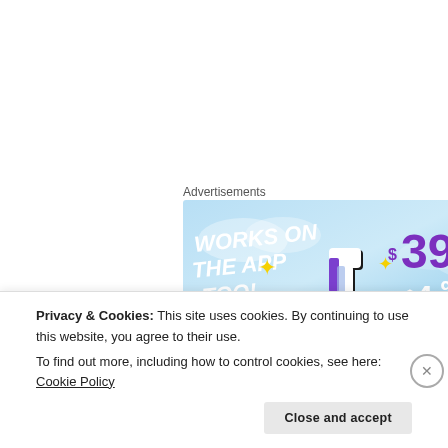Advertisements
[Figure (illustration): Tumblr advertisement banner showing 'WORKS ON THE APP TOO!' with pricing $39.99 a year or $4.99 a month + FREE SHIPPING, featuring the Tumblr 't' logo with sparkles on a blue sky background.]
No After Show this week but don't worry it will be
Privacy & Cookies: This site uses cookies. By continuing to use this website, you agree to their use.
To find out more, including how to control cookies, see here: Cookie Policy
Close and accept